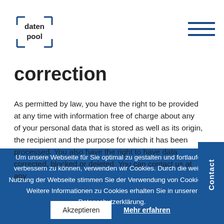daten pool [logo]
correction
As permitted by law, you have the right to be provided at any time with information free of charge about any of your personal data that is stored as well as its origin, the recipient and the purpose for which it has been processed. You also have the right to have data corrected, blocked or deleted. You can contact us at any
Um unsere Webseite für Sie optimal zu gestalten und fortlaufend verbessern zu können, verwenden wir Cookies. Durch die weitere Nutzung der Webseite stimmen Sie der Verwendung von Cookies zu. Weitere Informationen zu Cookies erhalten Sie in unserer Datenschutzerklärung.
Akzeptieren   Mehr erfahren